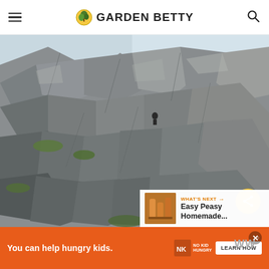Garden Betty
[Figure (photo): A rocky mountain or cliff face with large granite boulders and sparse green vegetation. A person is visible climbing among the rocks in the middle distance. Sky is visible in the upper right.]
[Figure (infographic): What's Next promo box: thumbnail of orange drinks, label 'WHAT'S NEXT →', title 'Easy Peasy Homemade...']
[Figure (infographic): Orange advertisement banner: 'You can help hungry kids.' with No Kid Hungry logo and 'LEARN HOW' button. Close (X) button top right.]